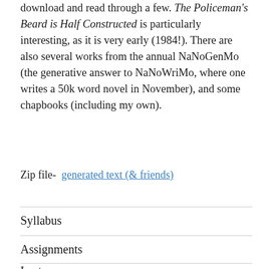download and read through a few. The Policeman's Beard is Half Constructed is particularly interesting, as it is very early (1984!). There are also several works from the annual NaNoGenMo (the generative answer to NaNoWriMo, where one writes a 50k word novel in November), and some chapbooks (including my own).
Zip file-  generated text (& friends)
Syllabus
Assignments
Lectures